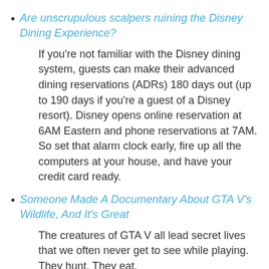Are unscrupulous scalpers ruining the Disney Dining Experience?
If you're not familiar with the Disney dining system, guests can make their advanced dining reservations (ADRs) 180 days out (up to 190 days if you're a guest of a Disney resort). Disney opens online reservation at 6AM Eastern and phone reservations at 7AM. So set that alarm clock early, fire up all the computers at your house, and have your credit card ready.
Someone Made A Documentary About GTA V's Wildlife, And It's Great
The creatures of GTA V all lead secret lives that we often never get to see while playing. They hunt. They eat.